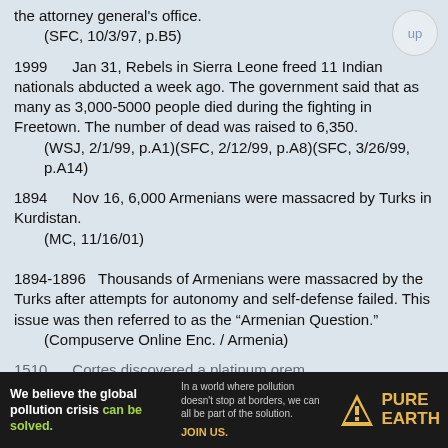the attorney general's office.
    (SFC, 10/3/97, p.B5)
1999    Jan 31, Rebels in Sierra Leone freed 11 Indian nationals abducted a week ago. The government said that as many as 3,000-5000 people died during the fighting in Freetown. The number of dead was raised to 6,350.
    (WSJ, 2/1/99, p.A1)(SFC, 2/12/99, p.A8)(SFC, 3/26/99, p.A14)
1894    Nov 16, 6,000 Armenians were massacred by Turks in Kurdistan.
    (MC, 11/16/01)
1894-1896    Thousands of Armenians were massacred by the Turks after attempts for autonomy and self-defense failed. This issue was then referred to as the “Armenian Question.”
    (Compuserve Online Enc. / Armenia)
1510    Cortes discovered a platinum orem...
[Figure (other): Advertisement banner for Pure Earth organization. Text reads: 'We believe the global pollution crisis can be solved.' / 'In a world where pollution doesn't stop at borders, we can all be part of the solution. JOIN US.' / PURE EARTH logo with hazard diamond icon.]